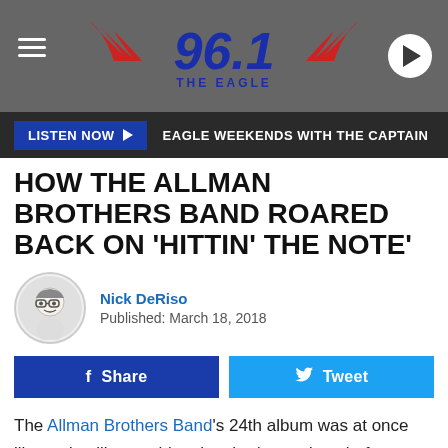96.1 THE EAGLE
LISTEN NOW ▶  EAGLE WEEKENDS WITH THE CAPTAIN
HOW THE ALLMAN BROTHERS BAND ROARED BACK ON 'HITTIN' THE NOTE'
Nick DeRiso
Published: March 18, 2018
Share  Tweet
The Allman Brothers Band's 24th album was at once like and unlike anything they had ever done before. While attempting to make their first music without Dickey Betts, they rediscovered something that used to fire the group's earliest successes: Creating together, in a room